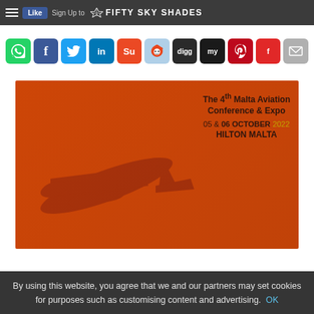FIFTY SKY SHADES — Like | Sign Up to see what your friends like.
[Figure (screenshot): Row of social media sharing buttons: WhatsApp, Facebook, Twitter, LinkedIn, StumbleUpon, Reddit, Digg, MySpace, Pinterest, Flipboard, Email]
[Figure (photo): Orange promotional poster for The 4th Malta Aviation Conference & Expo, 05 & 06 October 2022, Hilton Malta, with airplane silhouette]
By using this website, you agree that we and our partners may set cookies for purposes such as customising content and advertising. OK